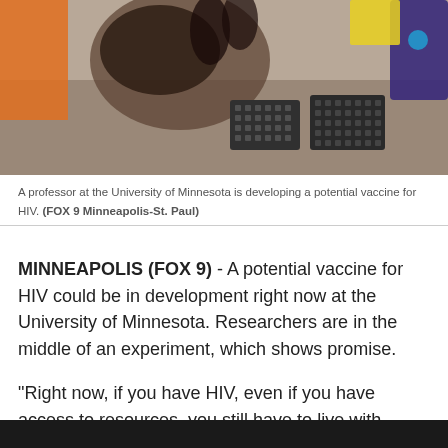[Figure (photo): Lab photo showing a person in black gloves working with laboratory equipment including multi-well plates on a bench with ice bucket and yellow tips in background]
A professor at the University of Minnesota is developing a potential vaccine for HIV. (FOX 9 Minneapolis-St. Paul)
MINNEAPOLIS (FOX 9) - A potential vaccine for HIV could be in development right now at the University of Minnesota. Researchers are in the middle of an experiment, which shows promise.
“Right now, if you have HIV, even if you have access to resources, you still have to live with treatment for the rest of your life,” said Professor David Masopust, University of Minnesota Medical School.
[Figure (photo): Dark/black bar at bottom of page, partial view of another image]